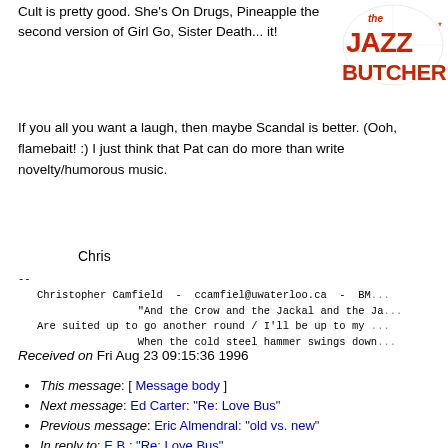[Figure (logo): The Jazz Butcher logo in red/orange graffiti-style text with decorative elements]
Cult is pretty good. She's On Drugs, Pineapple the second version of Girl Go, Sister Death... it!
If you all you want a laugh, then maybe Scandal is better. (Ooh, flamebait! :) I just think that Pat can do more than write novelty/humorous music.
Chris
--
   Christopher Camfield  -  ccamfiel@uwaterloo.ca  -  BM
                   "And the Crow and the Jackal and the Ja
   Are suited up to go another round / I'll be up to my
                   When the cold steel hammer swings down
Received on Fri Aug 23 09:15:36 1996
This message: [ Message body ]
Next message: Ed Carter: "Re: Love Bus"
Previous message: Eric Almendral: "old vs. new"
In reply to: E.B.: "Re: Love Bus"
Next in thread: Ed Carter: "Re: Love Bus"
Reply: Ed Carter: "Re: Love Bus"
Mail actions: [ respond to this message ] [ mail a new